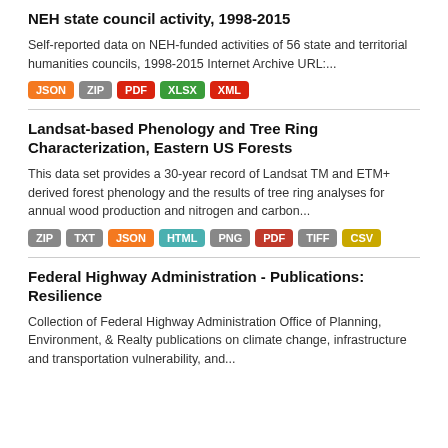NEH state council activity, 1998-2015
Self-reported data on NEH-funded activities of 56 state and territorial humanities councils, 1998-2015 Internet Archive URL:...
JSON ZIP PDF XLSX XML
Landsat-based Phenology and Tree Ring Characterization, Eastern US Forests
This data set provides a 30-year record of Landsat TM and ETM+ derived forest phenology and the results of tree ring analyses for annual wood production and nitrogen and carbon...
ZIP TXT JSON HTML PNG PDF TIFF CSV
Federal Highway Administration - Publications: Resilience
Collection of Federal Highway Administration Office of Planning, Environment, & Realty publications on climate change, infrastructure and transportation vulnerability, and...